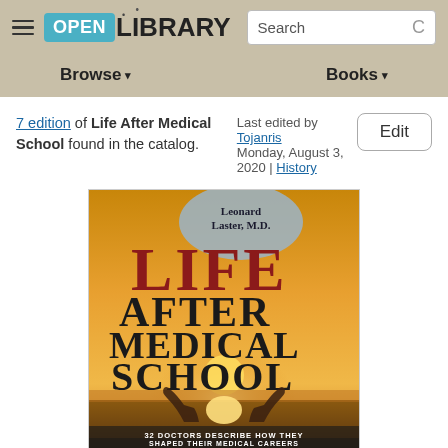OPEN LIBRARY — Search — Browse — Books
7 edition of Life After Medical School found in the catalog. Last edited by Tojanris Monday, August 3, 2020 | History
[Figure (photo): Book cover of 'Life After Medical School' by Leonard Laster, M.D. The cover features large stylized text reading 'Life After Medical School' with hands raised against a sunset background. Subtitle: '32 Doctors Describe How They Shaped Their Medical Careers']